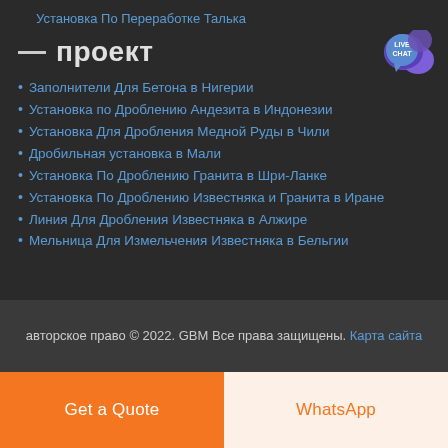Установка По Переработке Талька
— проект
Заполнители Для Бетона в Нигерии
Установка по Дроблению Андезита в Индонезии
Установка Для Дробления Медной Руды в Чили
Дробильная установка в Мали
Установка По Дроблению Гранита в Шри-Ланке
Установка По Дроблению Известняка и Гранита в Иране
Линия Для Дробления Известняка в Алжире
Мельница Для Измельчения Известняка в Бельгии
авторское право © 2022. GBM Все права защищены. Карта сайта
Get a Quote
WhatsApp